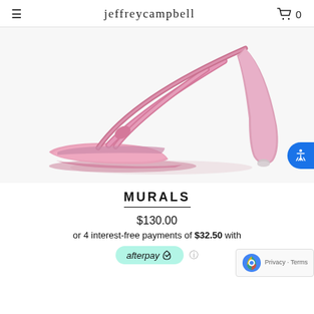jeffreycampbell
[Figure (photo): Close-up product photo of a pink metallic strappy high-heel sandal (mule style) with thin toe straps and a stiletto heel, on a white background.]
MURALS
$130.00
or 4 interest-free payments of $32.50 with
[Figure (logo): Afterpay logo badge on mint/teal background with afterpay link icon]